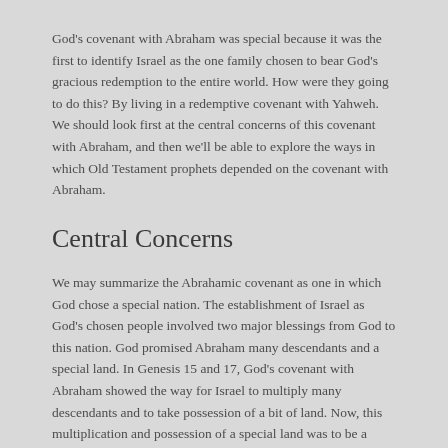God's covenant with Abraham was special because it was the first to identify Israel as the one family chosen to bear God's gracious redemption to the entire world. How were they going to do this? By living in a redemptive covenant with Yahweh. We should look first at the central concerns of this covenant with Abraham, and then we'll be able to explore the ways in which Old Testament prophets depended on the covenant with Abraham.
Central Concerns
We may summarize the Abrahamic covenant as one in which God chose a special nation. The establishment of Israel as God's chosen people involved two major blessings from God to this nation. God promised Abraham many descendants and a special land. In Genesis 15 and 17, God's covenant with Abraham showed the way for Israel to multiply many descendants and to take possession of a bit of land. Now, this multiplication and possession of a special land was to be a starting point for extending God's kingdom throughout the world. From this point on, the descendants and the land of Abraham took center stage in